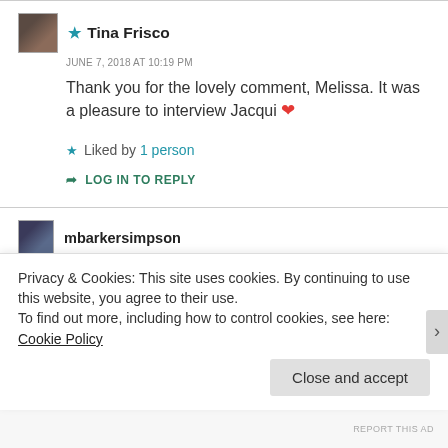★ Tina Frisco
JUNE 7, 2018 AT 10:19 PM
Thank you for the lovely comment, Melissa. It was a pleasure to interview Jacqui ❤
★ Liked by 1 person
➦ LOG IN TO REPLY
mbarkersimpson
Privacy & Cookies: This site uses cookies. By continuing to use this website, you agree to their use.
To find out more, including how to control cookies, see here: Cookie Policy
Close and accept